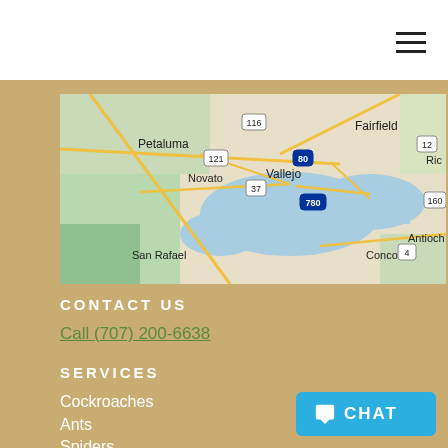[Figure (map): A Google Maps view showing the San Francisco Bay Area and surrounding cities including Petaluma, Novato, San Rafael, Fairfield, Vallejo, Concord, Antioch, with highways 116, 121, 37, 80, 780, 4, 12, 160 marked.]
CONTACT US
Call (707) 200-6638
SERVICES
Cockroaches
Ants
Spiders
Silverfish
Fleas
CHAT